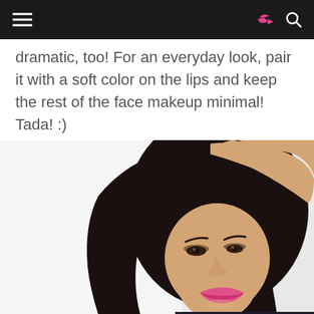[Navigation bar with hamburger menu, share icon, and search icon]
dramatic, too! For an everyday look, pair it with a soft color on the lips and keep the rest of the face makeup minimal! Tada! :)
[Figure (photo): A young Asian woman with long dark hair, one hand raised to her head, smiling, wearing pink lipstick, with smoky eye makeup, against a white background.]